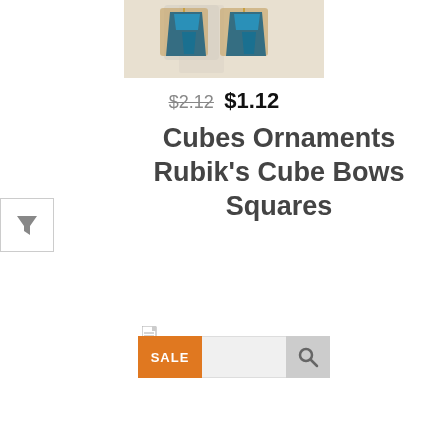[Figure (photo): Product photo showing blue/teal crystal cube ornament earrings with gold hardware on a light background]
$2.12  $1.12
Cubes Ornaments Rubik's Cube Bows Squares
[Figure (screenshot): Search bar UI with orange SALE badge on left and search icon on right]